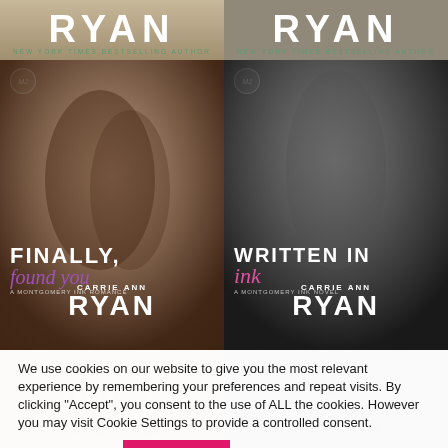[Figure (photo): Top partial view of two book covers by Carrie Ann Ryan. Left: white serif text 'RYAN' with 'NEW YORK TIMES BESTSELLING AUTHOR' in teal on tan background. Right: same author name and subtitle on darker background.]
[Figure (photo): Two book covers side by side. Left: 'Finally found you - A Montgomery Ink Romance' by Carrie Ann Ryan, showing couple embracing. Right: 'Written in Ink - A Montgomery Ink Novel' by Carrie Ann Ryan, showing tattooed male figure.]
We use cookies on our website to give you the most relevant experience by remembering your preferences and repeat visits. By clicking “Accept”, you consent to the use of ALL the cookies. However you may visit Cookie Settings to provide a controlled consent.
Cookie settings
ACCEPT
[Figure (photo): Partial bottom view of two more book covers. Left shows partial text 'DARK NIGHTS'. Right shows partial cursive text 'Enduring'.]